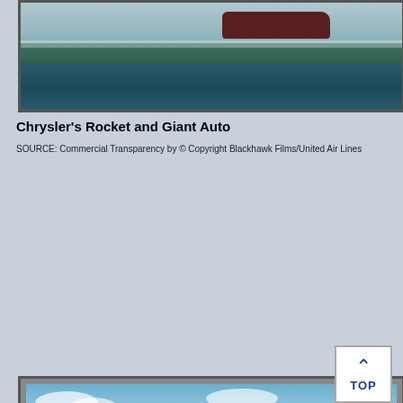[Figure (photo): Photograph of Chrysler's Rocket exhibit area with a red car and water reflection visible in the background, taken from a commercial transparency.]
Chrysler's Rocket and Giant Auto
SOURCE: Commercial Transparency by © Copyright Blackhawk Films/United Air Lines
[Figure (photo): Photograph of the Giant Auto structure at the World's Fair, a large white building shaped like a giant automobile engine, with crowds of visitors visible in the foreground and blue chairs.]